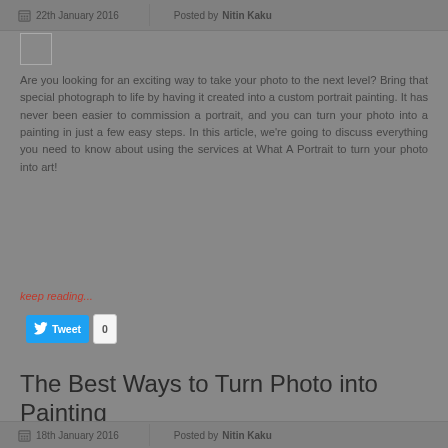22th January 2016   Posted by Nitin Kaku
[Figure (other): Small image placeholder box]
Are you looking for an exciting way to take your photo to the next level? Bring that special photograph to life by having it created into a custom portrait painting. It has never been easier to commission a portrait, and you can turn your photo into a painting in just a few easy steps. In this article, we're going to discuss everything you need to know about using the services at What A Portrait to turn your photo into art!
keep reading...
[Figure (screenshot): Tweet button with count 0]
The Best Ways to Turn Photo into Painting
18th January 2016   Posted by Nitin Kaku